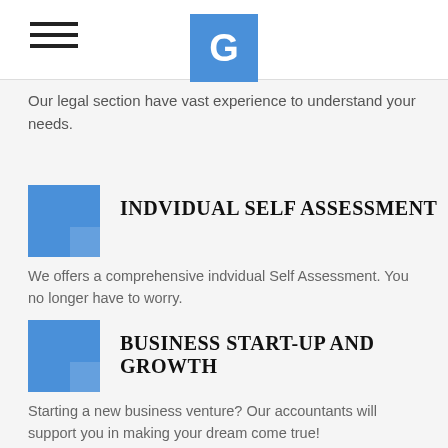G
Our legal section have vast experience to understand your needs.
INDVIDUAL SELF ASSESSMENT
We offers a comprehensive indvidual Self Assessment. You no longer have to worry.
BUSINESS START-UP AND GROWTH
Starting a new business venture? Our accountants will support you in making your dream come true!